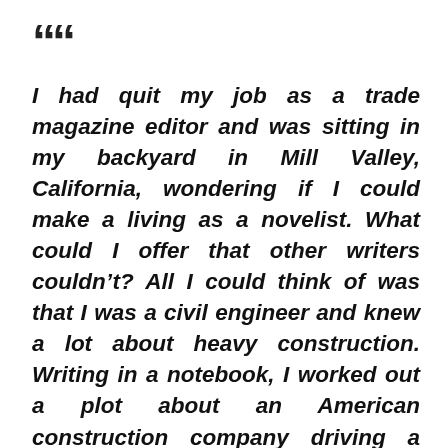““
I had quit my job as a trade magazine editor and was sitting in my backyard in Mill Valley, California, wondering if I could make a living as a novelist. What could I offer that other writers couldn’t? All I could think of was that I was a civil engineer and knew a lot about heavy construction. Writing in a notebook, I worked out a plot about an American construction company driving a tunnel under the English Channel from